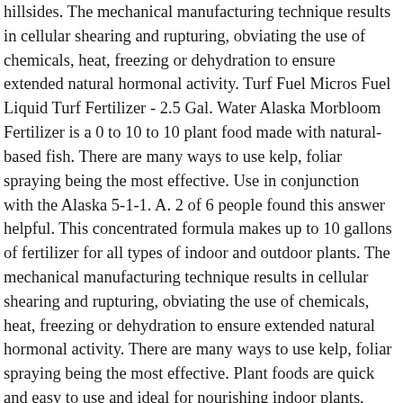hillsides. The mechanical manufacturing technique results in cellular shearing and rupturing, obviating the use of chemicals, heat, freezing or dehydration to ensure extended natural hormonal activity. Turf Fuel Micros Fuel Liquid Turf Fertilizer - 2.5 Gal. Water Alaska Morbloom Fertilizer is a 0 to 10 to 10 plant food made with natural-based fish. There are many ways to use kelp, foliar spraying being the most effective. Use in conjunction with the Alaska 5-1-1. A. 2 of 6 people found this answer helpful. This concentrated formula makes up to 10 gallons of fertilizer for all types of indoor and outdoor plants. The mechanical manufacturing technique results in cellular shearing and rupturing, obviating the use of chemicals, heat, freezing or dehydration to ensure extended natural hormonal activity. There are many ways to use kelp, foliar spraying being the most effective. Plant foods are quick and easy to use and ideal for nourishing indoor plants, container plants, smaller gardens and seedlings. Another one of the few natural ‘miracle’ foods that you can give to your plants.